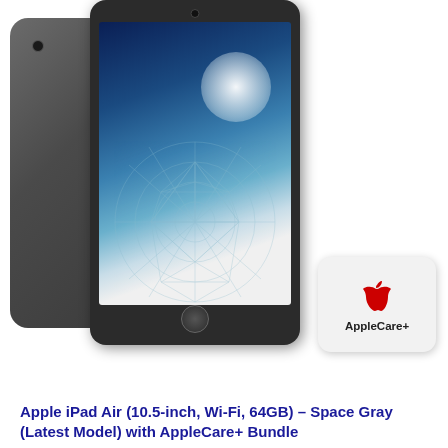[Figure (photo): Apple iPad Air (10.5-inch) in Space Gray shown from the back and front, displaying a geometric sphere wallpaper on screen, alongside an AppleCare+ service card with red Apple logo]
Apple iPad Air (10.5-inch, Wi-Fi, 64GB) – Space Gray (Latest Model) with AppleCare+ Bundle